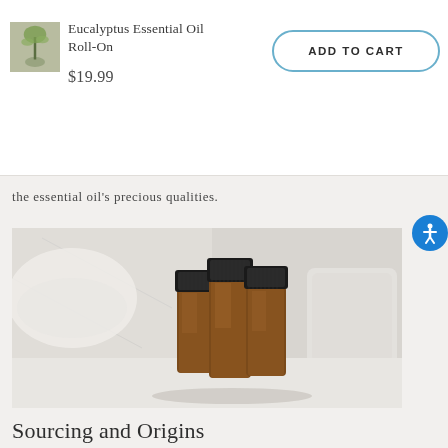Eucalyptus Essential Oil Roll-On  $19.99  ADD TO CART
the essential oil's precious qualities.
[Figure (photo): Three amber glass essential oil bottles with black caps arranged together on a white surface, with a white bowl and marble in the blurred background.]
Sourcing and Origins
Sourced from Asia, our eucalyptus (Eucalyptus